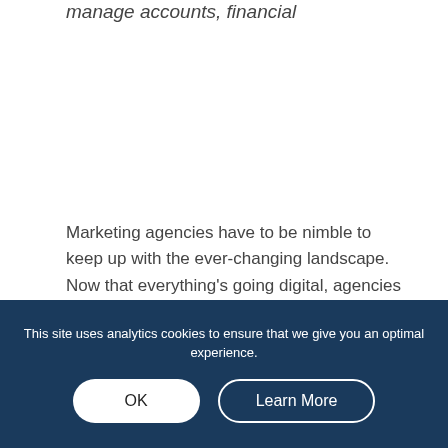manage accounts, financial
Marketing agencies have to be nimble to keep up with the ever-changing landscape. Now that everything's going digital, agencies can
This site uses analytics cookies to ensure that we give you an optimal experience.
OK
Learn More